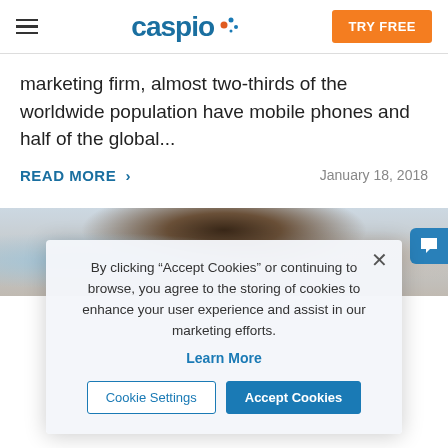Caspio — TRY FREE
marketing firm, almost two-thirds of the worldwide population have mobile phones and half of the global...
READ MORE > January 18, 2018
[Figure (photo): Close-up photo of people looking at mobile phones]
By clicking "Accept Cookies" or continuing to browse, you agree to the storing of cookies to enhance your user experience and assist in our marketing efforts.
Learn More
Cookie Settings | Accept Cookies